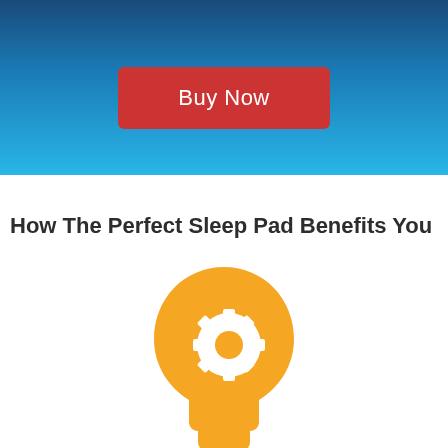[Figure (other): Red 'Buy Now' button centered on a blue gradient background hero section]
How The Perfect Sleep Pad Benefits You
[Figure (illustration): Orange icon of a human head profile with a gear/cog overlay, representing productivity/cognitive function]
Productivity